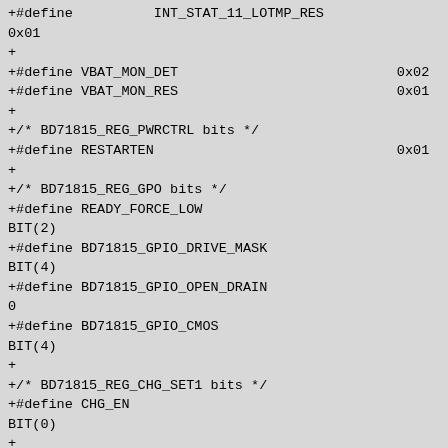+#define INT_STAT_11_LOTMP_RES 0x01
+
+#define VBAT_MON_DET 0x02
+#define VBAT_MON_RES 0x01
+
+/* BD71815_REG_PWRCTRL bits */
+#define RESTARTEN 0x01
+
+/* BD71815_REG_GPO bits */
+#define READY_FORCE_LOW BIT(2)
+#define BD71815_GPIO_DRIVE_MASK BIT(4)
+#define BD71815_GPIO_OPEN_DRAIN 0
+#define BD71815_GPIO_CMOS BIT(4)
+
+/* BD71815_REG_CHG_SET1 bits */
+#define CHG_EN BIT(0)
+
+/* BD71815 interrupt masks */
+enum {